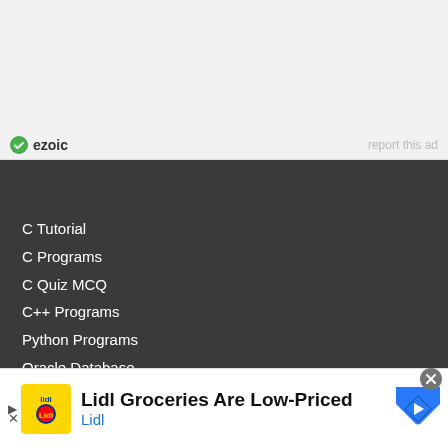[Figure (logo): Ezoic logo with green checkmark icon and bold text 'ezoic', with 'report this ad' text on the right]
C Tutorial
C Programs
C Quiz MCQ
C++ Programs
Python Programs
Oracle Database
Java Tutorial
[Figure (photo): Lidl advertisement banner: Lidl grocery logo, text 'Lidl Groceries Are Low-Priced', brand name 'Lidl' in blue, blue diamond navigation arrow icon on right, play/forward arrow on left, close X button]